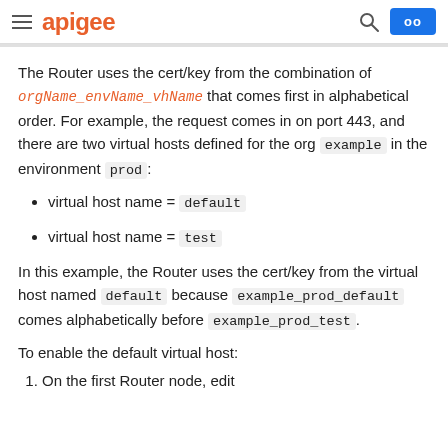apigee
The Router uses the cert/key from the combination of orgName_envName_vhName that comes first in alphabetical order. For example, the request comes in on port 443, and there are two virtual hosts defined for the org example in the environment prod:
virtual host name = default
virtual host name = test
In this example, the Router uses the cert/key from the virtual host named default because example_prod_default comes alphabetically before example_prod_test.
To enable the default virtual host:
1. On the first Router node, edit